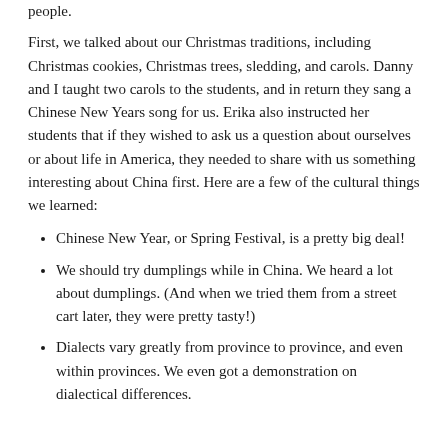people.
First, we talked about our Christmas traditions, including Christmas cookies, Christmas trees, sledding, and carols. Danny and I taught two carols to the students, and in return they sang a Chinese New Years song for us. Erika also instructed her students that if they wished to ask us a question about ourselves or about life in America, they needed to share with us something interesting about China first. Here are a few of the cultural things we learned:
Chinese New Year, or Spring Festival, is a pretty big deal!
We should try dumplings while in China. We heard a lot about dumplings. (And when we tried them from a street cart later, they were pretty tasty!)
Dialects vary greatly from province to province, and even within provinces. We even got a demonstration on dialectical differences.